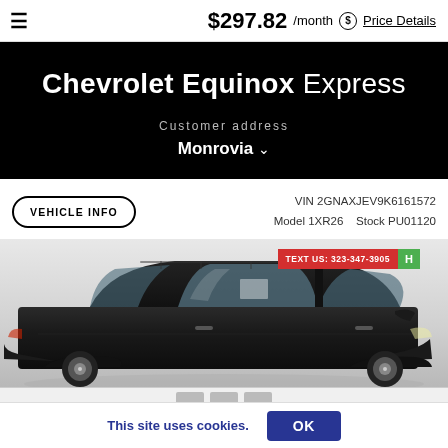$297.82 /month  Price Details
Chevrolet Equinox Express
Customer address
Monrovia
VEHICLE INFO
VIN 2GNAXJEV9K6161572
Model 1XR26    Stock PU01120
[Figure (photo): Dark-colored Chevrolet Equinox SUV photographed from the side/front quarter, with a red TEXT US: 323-347-3905 badge and green H badge in the top-right corner of the image]
This site uses cookies.